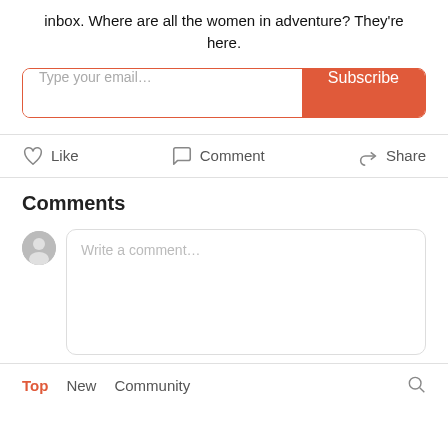inbox. Where are all the women in adventure? They're here.
[Figure (other): Email subscription input field with placeholder 'Type your email...' and a red Subscribe button]
[Figure (other): Like, Comment, and Share action buttons row]
Comments
[Figure (other): User avatar circle and a comment text input box with placeholder 'Write a comment...']
Top   New   Community